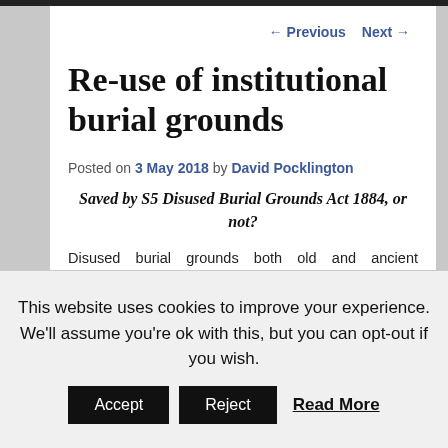← Previous   Next →
Re-use of institutional burial grounds
Posted on 3 May 2018 by David Pocklington
Saved by S5 Disused Burial Grounds Act 1884, or not?
Disused burial grounds both old and ancient frequently feature in Midsomer Murders. In real life, however, their
This website uses cookies to improve your experience. We'll assume you're ok with this, but you can opt-out if you wish.